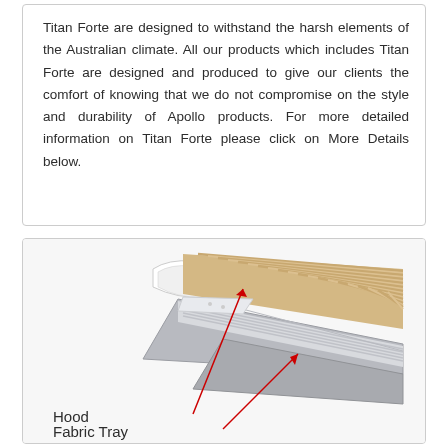Titan Forte are designed to withstand the harsh elements of the Australian climate. All our products which includes Titan Forte are designed and produced to give our clients the comfort of knowing that we do not compromise on the style and durability of Apollo products. For more detailed information on Titan Forte please click on More Details below.
[Figure (illustration): Diagram of an awning assembly showing labeled components: Hood and Fabric Tray, with red arrows pointing to each part. The awning shows striped fabric (cream/gold and white striped) with grey metallic frame components.]